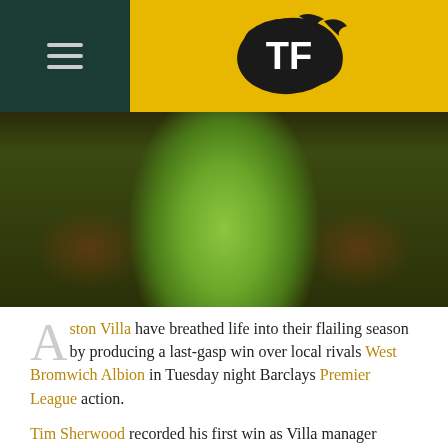[Figure (logo): TF logo with hamburger menu on dark green background, yellow header bar]
[Figure (photo): Football player in green/yellow kit with arms outstretched, celebrating]
Aston Villa have breathed life into their flailing season by producing a last-gasp win over local rivals West Bromwich Albion in Tuesday night Barclays Premier League action.
Tim Sherwood recorded his first win as Villa manager thanks to a 2-1 result in the West Midlands derby at Villa Park which came courtesy of an injury-time Christian Benteke penalty.
Gabby Agbonlahor opened the scoring for Villa in the 22nd minute when he raced onto a glancing header from Benteke after Brad Guzan's long clearance before beating Ben Foster through his legs.
With just under 35 minutes remaining, Craig Bouchier...